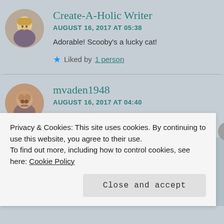Create-A-Holic Writer
AUGUST 16, 2017 AT 05:38
Adorable! Scooby's a lucky cat!
★ Liked by 1 person
mvaden1948
AUGUST 16, 2017 AT 04:40
Fabulous!🐱🌟
Privacy & Cookies: This site uses cookies. By continuing to use this website, you agree to their use.
To find out more, including how to control cookies, see here: Cookie Policy
Close and accept